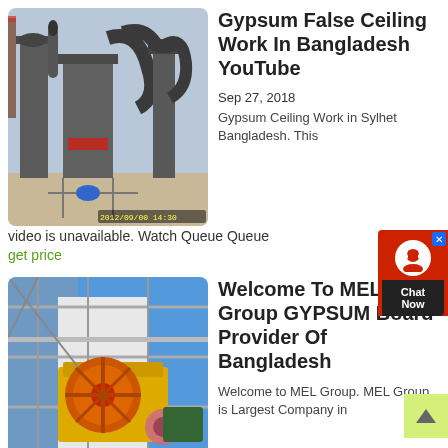[Figure (photo): Industrial gypsum processing plant with large machinery, pipes, and silos. Yellow timestamp at bottom.]
Gypsum False Ceiling Work In Bangladesh YouTube
Sep 27, 2018
Gypsum Ceiling Work in Sylhet Bangladesh. This video is unavailable. Watch Queue Queue
get price
[Figure (photo): Yellow and orange industrial crusher/jaw crusher machine on scaffolding with blue sky background.]
Welcome To MEL Group GYPSUM Board Provider Of Bangladesh
Welcome to MEL Group. MEL Group is Largest Company in